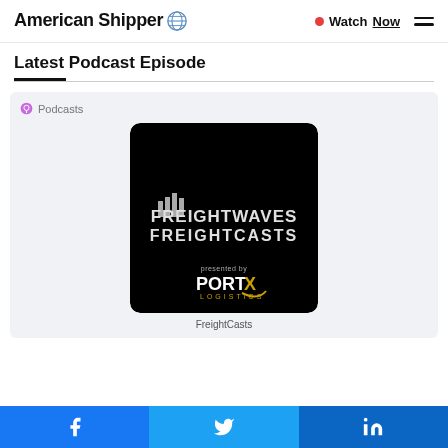American Shipper | Watch Now
Latest Podcast Episode
[Figure (screenshot): Apple Podcasts embed card showing FreightWaves FreightCasts podcast artwork: black background with FreightWaves logo and FreightCasts text, presented by PortX Logistics]
FreightCasts